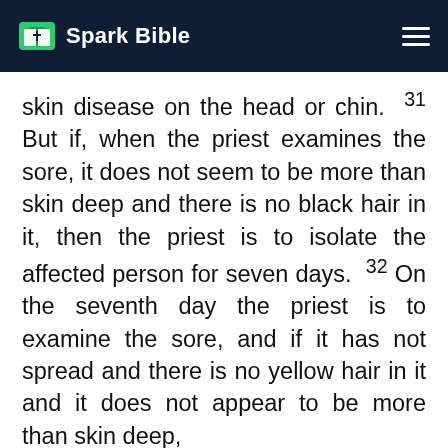Spark Bible
skin disease on the head or chin. 31 But if, when the priest examines the sore, it does not seem to be more than skin deep and there is no black hair in it, then the priest is to isolate the affected person for seven days. 32 On the seventh day the priest is to examine the sore, and if it has not spread and there is no yellow hair in it and it does not appear to be more than skin deep, 33 then the man or woman must shave